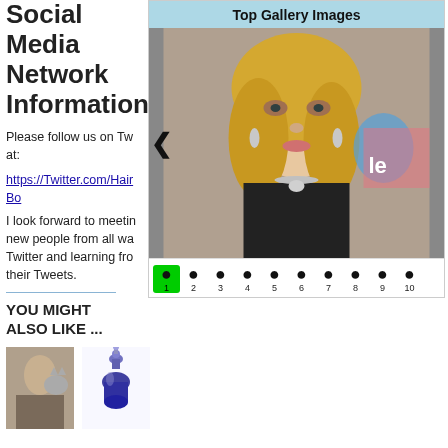Social Media Network Information
Please follow us on Twitter at:
https://Twitter.com/HairBo
I look forward to meeting new people from all walks of Twitter and learning from their Tweets.
YOU MIGHT ALSO LIKE ...
[Figure (photo): Top Gallery Images panel showing a blonde woman in a black dress with jewelry, with navigation arrows and numbered dots below]
[Figure (photo): Small thumbnail of a woman with a cat]
[Figure (photo): Small thumbnail of a decorative blue glass bottle]